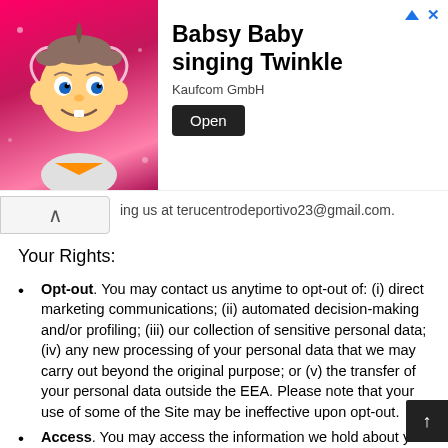[Figure (infographic): Advertisement banner for 'Babsy Baby singing Twinkle' by Kaufcom GmbH, with a cartoon baby image on a pink background and an Open button.]
…ing us at terucentrodeportivo23@gmail.com.
Your Rights:
Opt-out. You may contact us anytime to opt-out of: (i) direct marketing communications; (ii) automated decision-making and/or profiling; (iii) our collection of sensitive personal data; (iv) any new processing of your personal data that we may carry out beyond the original purpose; or (v) the transfer of your personal data outside the EEA. Please note that your use of some of the Site may be ineffective upon opt-out.
Access. You may access the information we hold about you at any time via your profile/account or by contacting directly.
Amend. You can also contact us to update or correct any…